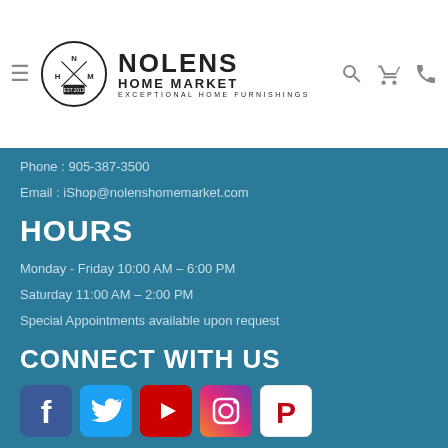Nolens Home Market — Exceptional Home Furnishings
Phone: 905-387-3500
Email: iShop@nolenshomemarket.com
HOURS
Monday - Friday 10:00 AM – 6:00 PM
Saturday 11:00 AM – 2:00 PM
Special Appointments available upon request
CONNECT WITH US
[Figure (logo): Social media icons: Facebook, Twitter, YouTube, Instagram, Pinterest]